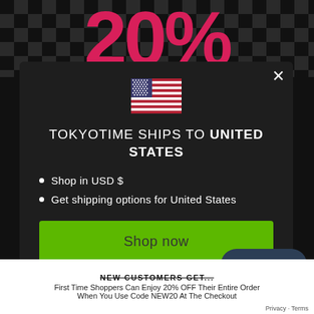[Figure (screenshot): Website popup modal showing a US flag, heading 'TOKYOTIME SHIPS TO UNITED STATES', bullet points 'Shop in USD $' and 'Get shipping options for United States', a green 'Shop now' button, and 'Change shipping country' link. Background shows checkered pattern with pink/red '20%' text. Chat bubble 'Chat with us' visible bottom right. Bottom shows promotional text about 20% OFF for first time shoppers.]